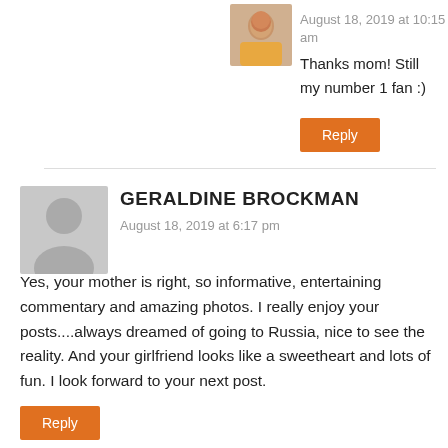[Figure (photo): Small square avatar photo of a young man outdoors]
August 18, 2019 at 10:15 am
Thanks mom! Still my number 1 fan :)
Reply
[Figure (illustration): Generic grey silhouette avatar placeholder]
GERALDINE BROCKMAN
August 18, 2019 at 6:17 pm
Yes, your mother is right, so informative, entertaining commentary and amazing photos. I really enjoy your posts....always dreamed of going to Russia, nice to see the reality. And your girlfriend looks like a sweetheart and lots of fun. I look forward to your next post.
Reply